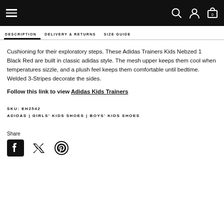Navigation bar with hamburger menu, search, account, and cart icons
DESCRIPTION | DELIVERY & RETURNS | SIZE GUIDE
Cushioning for their exploratory steps. These Adidas Trainers Kids Nebzed 1 Black Red are built in classic adidas style. The mesh upper keeps them cool when temperatures sizzle, and a plush feel keeps them comfortable until bedtime. Welded 3-Stripes decorate the sides.
Follow this link to view Adidas Kids Trainers
SKU: EH2542
ADIDAS | GIRLS' KIDS SHOES | BOYS' KIDS SHOES
Share
[Figure (other): Social share icons: Facebook, Twitter, Pinterest]